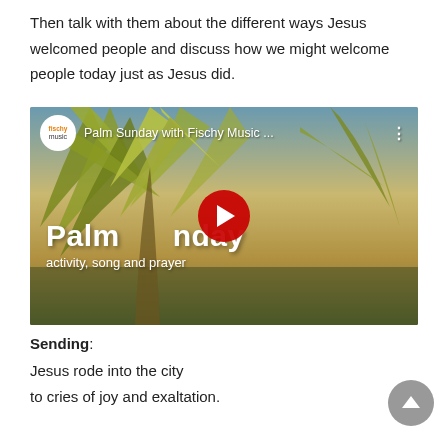Then talk with them about the different ways Jesus welcomed people and discuss how we might welcome people today just as Jesus did.
[Figure (screenshot): YouTube video thumbnail for 'Palm Sunday with Fischy Music ...' showing palm trees with text 'Palm Sunday activity, song and prayer' and a red YouTube play button. Channel logo shows 'fischy music' in orange text.]
Sending:
Jesus rode into the city
to cries of joy and exaltation.